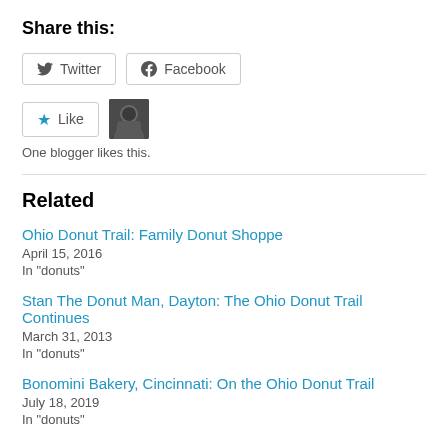Share this:
Twitter  Facebook
[Figure (other): Like button with star icon and a blogger avatar thumbnail, with text 'One blogger likes this.']
One blogger likes this.
Related
Ohio Donut Trail: Family Donut Shoppe
April 15, 2016
In "donuts"
Stan The Donut Man, Dayton: The Ohio Donut Trail Continues
March 31, 2013
In "donuts"
Bonomini Bakery, Cincinnati: On the Ohio Donut Trail
July 18, 2019
In "donuts"